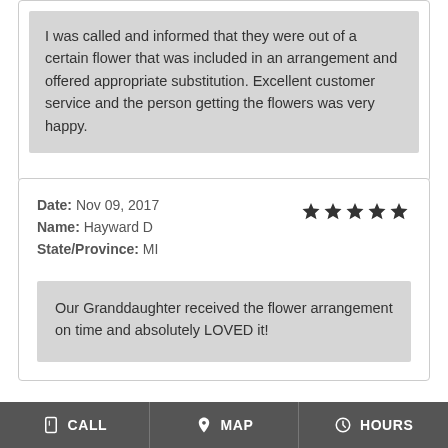I was called and informed that they were out of a certain flower that was included in an arrangement and offered appropriate substitution. Excellent customer service and the person getting the flowers was very happy.
Date: Nov 09, 2017
Name: Hayward D
State/Province: MI
[Figure (other): 5 filled star rating icons]
Our Granddaughter received the flower arrangement on time and absolutely LOVED it!
CALL  MAP  HOURS